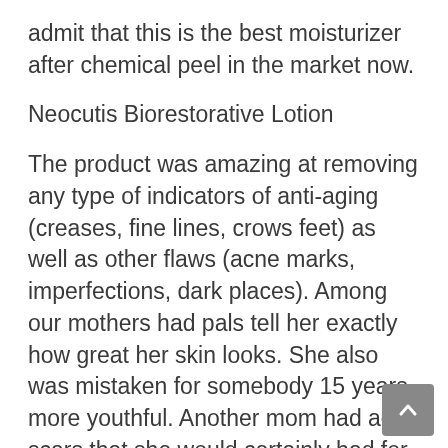admit that this is the best moisturizer after chemical peel in the market now.
Neocutis Biorestorative Lotion
The product was amazing at removing any type of indicators of anti-aging (creases, fine lines, crows feet) as well as other flaws (acne marks, imperfections, dark places). Among our mothers had pals tell her exactly how great her skin looks. She also was mistaken for somebody 15 years more youthful. Another mom had acne scars that she would certainly had for over a years, go away after using this item.